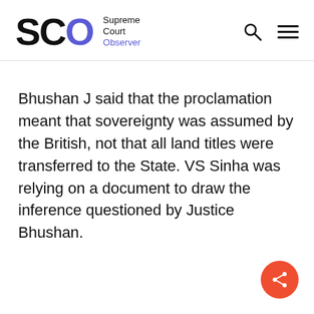SCO Supreme Court Observer
Bhushan J said that the proclamation meant that sovereignty was assumed by the British, not that all land titles were transferred to the State. VS Sinha was relying on a document to draw the inference questioned by Justice Bhushan.